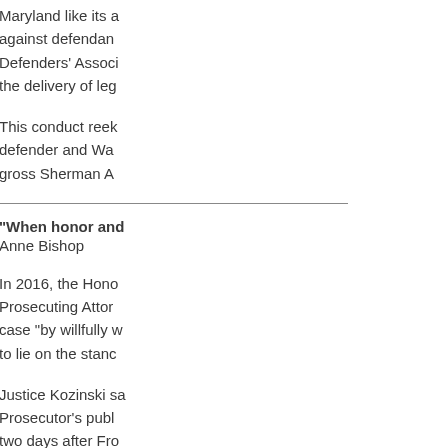Maryland like its a against defendants Defenders' Associ the delivery of leg
This conduct reek defender and Wa gross Sherman A
“When honor and
Anne Bishop
In 2016, the Hono Prosecuting Atto case “by willfully w to lie on the stanc
Justice Kozinski sa Prosecutor's publ two days after Fro when he doggedly